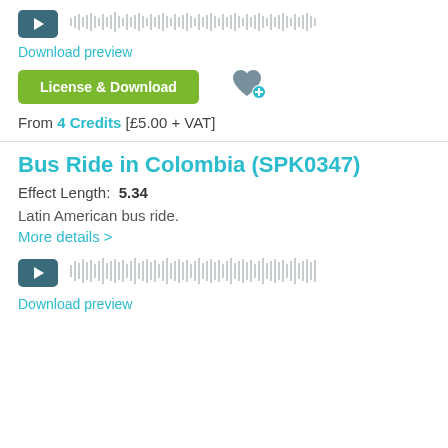[Figure (other): Audio player with play button and waveform visualization at top of page]
Download preview
License & Download
From 4 Credits [£5.00 + VAT]
Bus Ride in Colombia (SPK0347)
Effect Length: 5.34
Latin American bus ride.
More details >
[Figure (other): Audio player with play button and waveform visualization for Bus Ride in Colombia]
Download preview